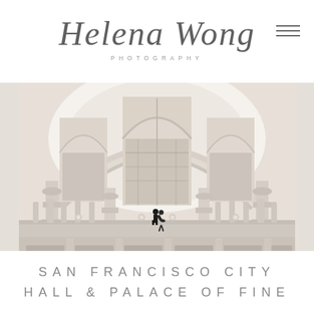Helena Wong Photography
[Figure (photo): Interior of San Francisco City Hall showing grand arched windows, ornate white marble architecture, a mezzanine balcony with decorative columns, and a couple silhouetted in the center of the balcony]
SAN FRANCISCO CITY HALL & PALACE OF FINE